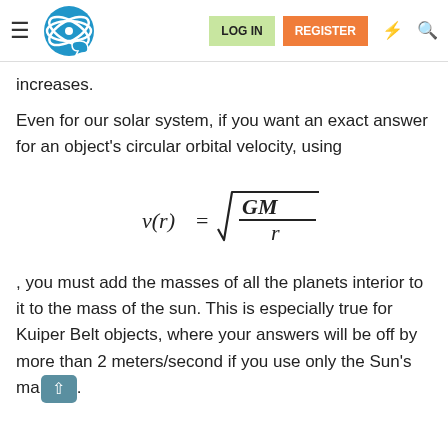LOG IN | REGISTER [navigation bar with logo]
increases.
Even for our solar system, if you want an exact answer for an object's circular orbital velocity, using
, you must add the masses of all the planets interior to it to the mass of the sun. This is especially true for Kuiper Belt objects, where your answers will be off by more than 2 meters/second if you use only the Sun's mass.